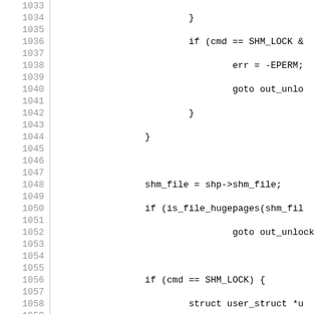Source code listing, lines 1033-1063, showing C kernel code for SHM_LOCK and SHM_UNLOCK handling